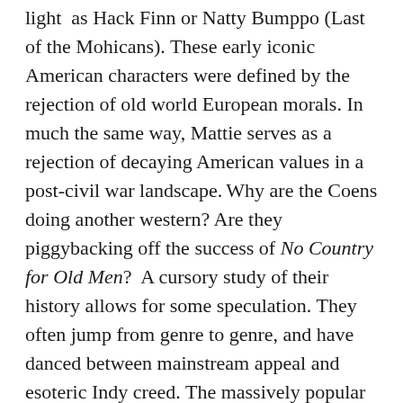light as Hack Finn or Natty Bumppo (Last of the Mohicans). These early iconic American characters were defined by the rejection of old world European morals. In much the same way, Mattie serves as a rejection of decaying American values in a post-civil war landscape. Why are the Coens doing another western? Are they piggybacking off the success of No Country for Old Men? A cursory study of their history allows for some speculation. They often jump from genre to genre, and have danced between mainstream appeal and esoteric Indy creed. The massively popular Fargo was followed by a bizarre film called The Big Lebowski, which was initially considered a failure. Critics and audiences didn't get the odd tribute to Raymond Chandler. The popular O Brother, Where Art Thou? (Homer's Ulysses re-told) came before the slow and contemplative The Man Who Wasn't There, a black and white study of malaise in the 1950s. In this sense, True Grit fits right in. As a